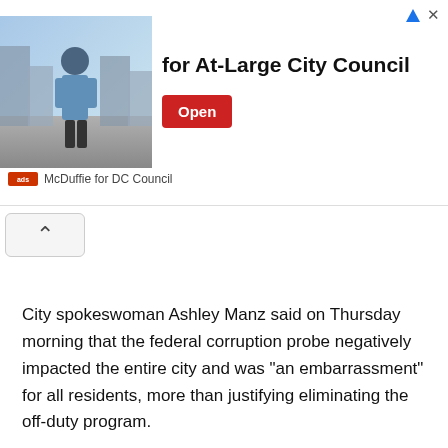[Figure (photo): Advertisement banner featuring a man in a light blue shirt standing on a city street, with text 'for At-Large City Council' and an Open button, sponsored by McDuffie for DC Council]
City spokeswoman Ashley Manz said on Thursday morning that the federal corruption probe negatively impacted the entire city and was “an embarrassment” for all residents, more than justifying eliminating the off-duty program.
“The federal corruption probe impacted the entire city and was an embarrassment to all city residents on how police abused the system. Many were indicted and many more knew of the corruption,” she said in an email.
“We are going to be using best practices from other cities. There is no reason that NYC, with more residents and more